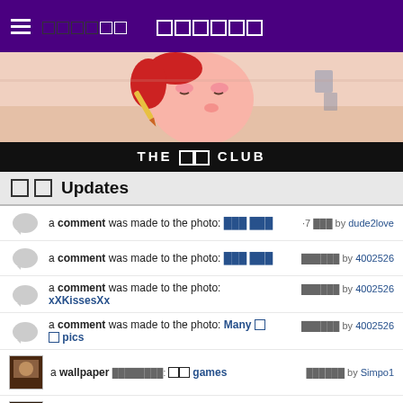≡ ██████
[Figure (illustration): Cartoon character with red hair kissing, pink background]
THE ██ CLUB
██ Updates
a comment was made to the photo: ███ ███ · 7 ███ by dude2love
a comment was made to the photo: ███ ███ ██████ by 4002526
a comment was made to the photo: xXKissesXx ██████ by 4002526
a comment was made to the photo: Many █ █ pics ██████ by 4002526
a wallpaper ████████: ██ games ██████ by Simpo1
an icon ████████: Waterloo Road ██████ by Simpo1
a photo ████████: ██ ██████ by Makeupdiva
a comment was made to the poll: How old were ███ when ███ had your 1st kiss!!!??? - passionate ██████ by Chibi-Chipette
an answer was added to this question: Is it